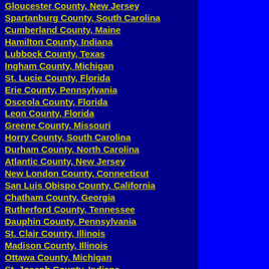Gloucester County, New Jersey
Spartanburg County, South Carolina
Cumberland County, Maine
Hamilton County, Indiana
Lubbock County, Texas
Ingham County, Michigan
St. Lucie County, Florida
Erie County, Pennsylvania
Osceola County, Florida
Leon County, Florida
Greene County, Missouri
Horry County, South Carolina
Durham County, North Carolina
Atlantic County, New Jersey
New London County, Connecticut
San Luis Obispo County, California
Chatham County, Georgia
Rutherford County, Tennessee
Dauphin County, Pennsylvania
St. Clair County, Illinois
Madison County, Illinois
Ottawa County, Michigan
St. Joseph County, Indiana